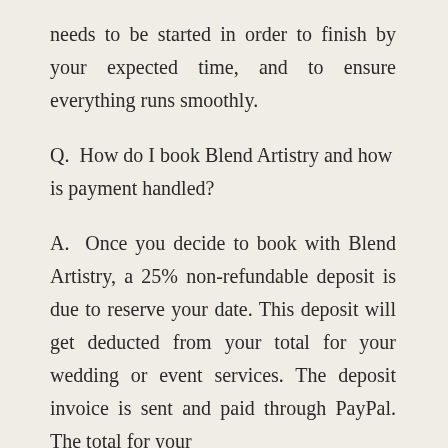needs to be started in order to finish by your expected time, and to ensure everything runs smoothly.
Q.  How do I book Blend Artistry and how is payment handled?
A.  Once you decide to book with Blend Artistry, a 25% non-refundable deposit is due to reserve your date. This deposit will get deducted from your total for your wedding or event services. The deposit invoice is sent and paid through PayPal. The total for your